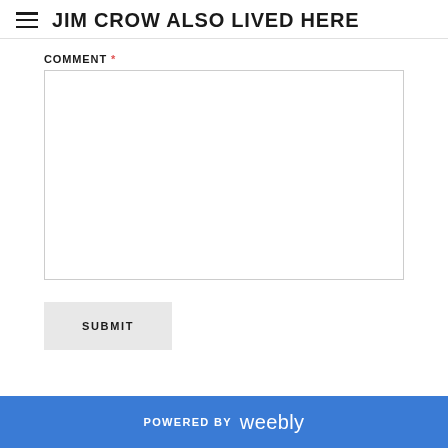JIM CROW ALSO LIVED HERE
COMMENT *
[Figure (other): Empty comment text area input box with border]
SUBMIT
POWERED BY weebly